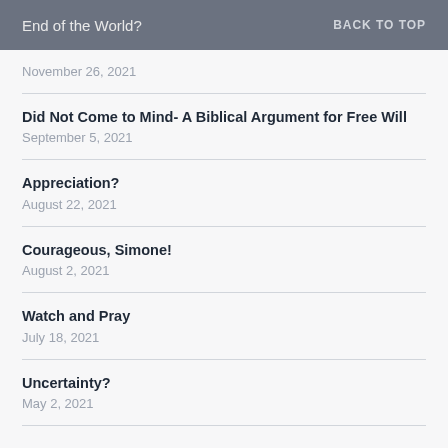End of the World? BACK TO TOP
End of the World?
November 26, 2021
Did Not Come to Mind- A Biblical Argument for Free Will
September 5, 2021
Appreciation?
August 22, 2021
Courageous, Simone!
August 2, 2021
Watch and Pray
July 18, 2021
Uncertainty?
May 2, 2021